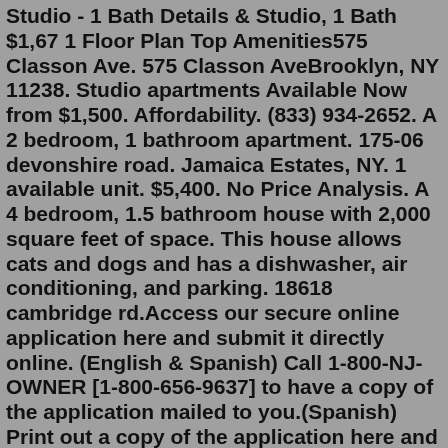Studio - 1 Bath Details & Studio, 1 Bath $1,67 1 Floor Plan Top Amenities575 Classon Ave. 575 Classon AveBrooklyn, NY 11238. Studio apartments Available Now from $1,500. Affordability. (833) 934-2652. A 2 bedroom, 1 bathroom apartment. 175-06 devonshire road. Jamaica Estates, NY. 1 available unit. $5,400. No Price Analysis. A 4 bedroom, 1.5 bathroom house with 2,000 square feet of space. This house allows cats and dogs and has a dishwasher, air conditioning, and parking. 18618 cambridge rd.Access our secure online application here and submit it directly online. (English & Spanish) Call 1-800-NJ-OWNER [1-800-656-9637] to have a copy of the application mailed to you.(Spanish) Print out a copy of the application here and mail or fax it to: NJCA HUD Certified Counseling Service, 625 Broad Street, Suite 270 Newark, NJ 07102 Fax: (973. See all 668 apartments and houses for rent in ...Median Housing Costs Per Month $1,593. There is a total of 33,699 households in Jamaica, Queens, NY. Of these, 12,212 have children and 21,487 are without children. Per Census Bureau's